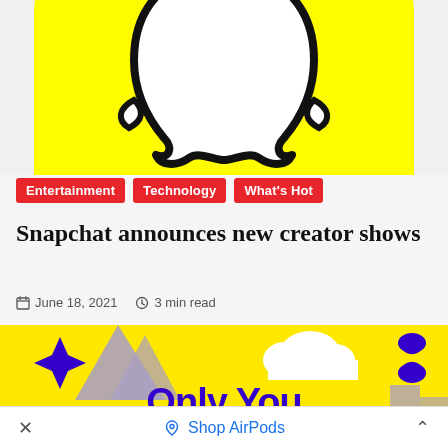[Figure (logo): Snapchat ghost logo on yellow background, cropped showing top portion of the yellow rounded square with white ghost icon]
Entertainment
Technology
What's Hot
Snapchat announces new creator shows
June 18, 2021  3 min read
[Figure (illustration): Yellow banner with purple/blue graphic elements including stars, mountain shapes, cloud shape, hourglass figure, and text 'Only You' in large blue lettering]
Shop AirPods